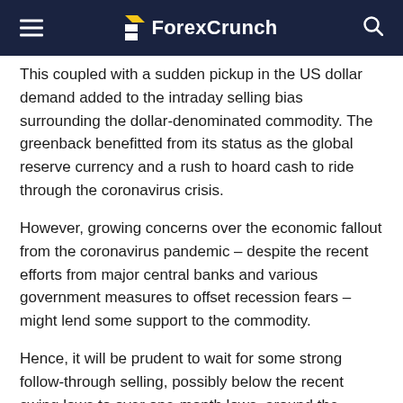ForexCrunch
This coupled with a sudden pickup in the US dollar demand added to the intraday selling bias surrounding the dollar-denominated commodity. The greenback benefitted from its status as the global reserve currency and a rush to hoard cash to ride through the coronavirus crisis.
However, growing concerns over the economic fallout from the coronavirus pandemic – despite the recent efforts from major central banks and various government measures to offset recession fears – might lend some support to the commodity.
Hence, it will be prudent to wait for some strong follow-through selling, possibly below the recent swing lows to over one-month lows, around the $1450 region, before positioning for any further near-term depreciating move for the metal.